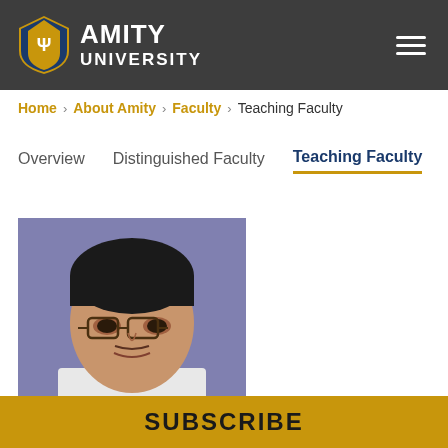AMITY UNIVERSITY
Home > About Amity > Faculty > Teaching Faculty
Overview   Distinguished Faculty   Teaching Faculty
[Figure (photo): Headshot photo of a man with glasses against a purple/blue background. He appears to be a faculty member at Amity University.]
SUBSCRIBE